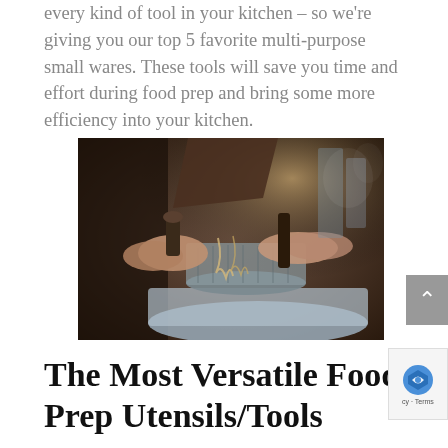every kind of tool in your kitchen – so we're giving you our top 5 favorite multi-purpose small wares. These tools will save you time and effort during food prep and bring some more efficiency into your kitchen.
[Figure (photo): Photo of hands using kitchen tools, draining food with a strainer basket into a metal bowl in a restaurant kitchen setting.]
The Most Versatile Food Prep Utensils/Tools